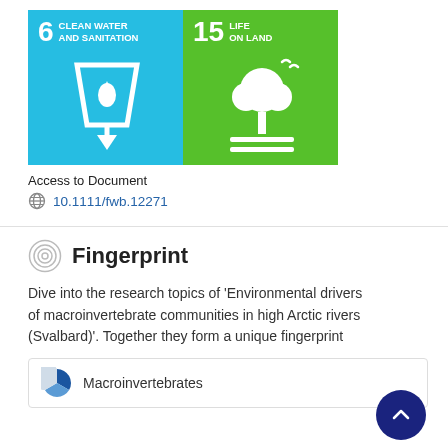[Figure (infographic): SDG 6 Clean Water and Sanitation icon (blue background, white water filter/cup with drop icon) and SDG 15 Life on Land icon (green background, white tree with birds and horizontal lines)]
Access to Document
10.1111/fwb.12271
Fingerprint
Dive into the research topics of 'Environmental drivers of macroinvertebrate communities in high Arctic rivers (Svalbard)'. Together they form a unique fingerprint
Macroinvertebrates